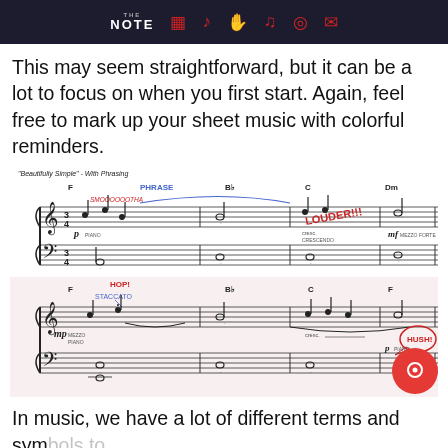THE NOTE [navigation icons]
This may seem straightforward, but it can be a lot to focus on when you first start. Again, feel free to mark up your sheet music with colorful reminders.
[Figure (illustration): Sheet music excerpt titled 'Beautifully Simple - With Phrasing' showing two staves with handwritten annotations in red and blue ink including: PHRASE, SMOOOOOOTHA, LOUDER!!!, CRESCENDO, PIANO, MEZZO FORTE labels and dynamic markings in F, Bb, C, Dm keys]
[Figure (illustration): Second sheet music excerpt showing two staves with handwritten annotations: HOP!, STACCATO, MEZZO PIANO, cresc., PIANO, and HUSH! written in a red speech bubble, in F, Bb, C, F keys]
In music, we have a lot of different terms and symbols to describe how a piece should be played. Here are a few